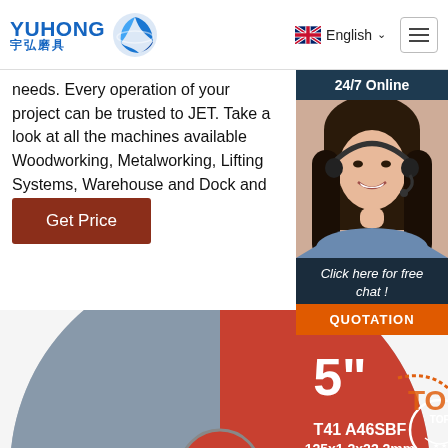[Figure (logo): YUHONG 宇弘磨具 logo with blue wave/globe icon, company name in bold blue text]
English (language selector with UK flag and dropdown arrow)
needs. Every operation of your project can be trusted to JET. Take a look at all the machines available Woodworking, Metalworking, Lifting Systems, Warehouse and Dock and Handtools.
Get Price
[Figure (photo): 24/7 Online chat widget with photo of smiling woman with headset, dark navy background, 'Click here for free chat!' text and orange QUOTATION button]
[Figure (photo): Cutting disc/grinding wheel showing: 5 inch size, T41 A46SBF, 125x1.2x22.2mm specifications, R.P.M 12250, TOP certification badge, ISO 9001 certification, MPA Tested certification badge. Red and blue/grey disc design.]